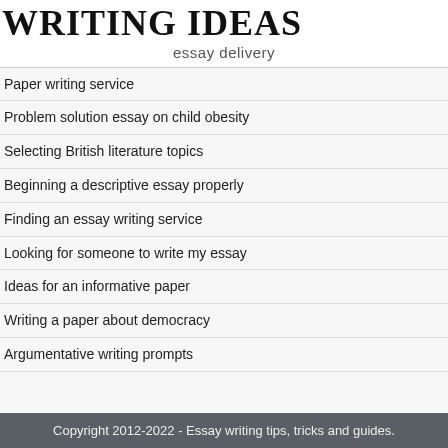WRITING IDEAS
essay delivery
Paper writing service
Problem solution essay on child obesity
Selecting British literature topics
Beginning a descriptive essay properly
Finding an essay writing service
Looking for someone to write my essay
Ideas for an informative paper
Writing a paper about democracy
Argumentative writing prompts
Copyright 2012-2022 - Essay writing tips, tricks and guides.